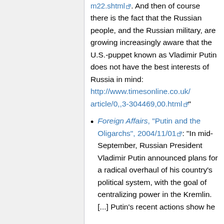m22.shtml. And then of course there is the fact that the Russian people, and the Russian military, are growing increasingly aware that the U.S.-puppet known as Vladimir Putin does not have the best interests of Russia in mind: http://www.timesonline.co.uk/article/0,,3-304469,00.html"
Foreign Affairs, "Putin and the Oligarchs", 2004/11/01: "In mid-September, Russian President Vladimir Putin announced plans for a radical overhaul of his country's political system, with the goal of centralizing power in the Kremlin. [...] Putin's recent actions show he...